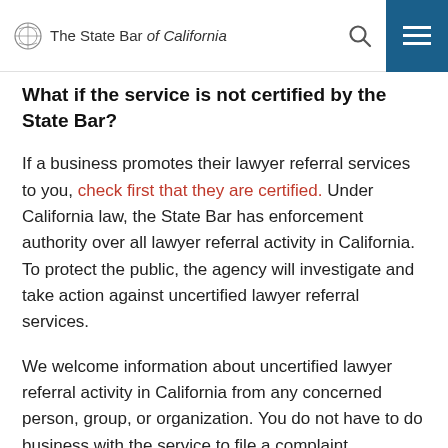The State Bar of California
What if the service is not certified by the State Bar?
If a business promotes their lawyer referral services to you, check first that they are certified. Under California law, the State Bar has enforcement authority over all lawyer referral activity in California. To protect the public, the agency will investigate and take action against uncertified lawyer referral services.
We welcome information about uncertified lawyer referral activity in California from any concerned person, group, or organization. You do not have to do business with the service to file a complaint.